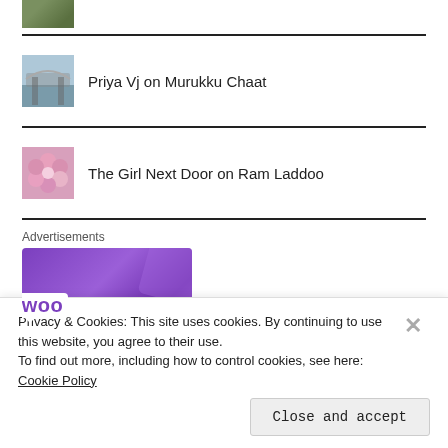[Figure (photo): Partial thumbnail image at top left, cropped green/nature image]
Priya Vj on Murukku Chaat
The Girl Next Door on Ram Laddoo
Advertisements
[Figure (logo): WooCommerce advertisement banner with purple gradient background and WooCommerce logo]
Privacy & Cookies: This site uses cookies. By continuing to use this website, you agree to their use.
To find out more, including how to control cookies, see here: Cookie Policy
Close and accept